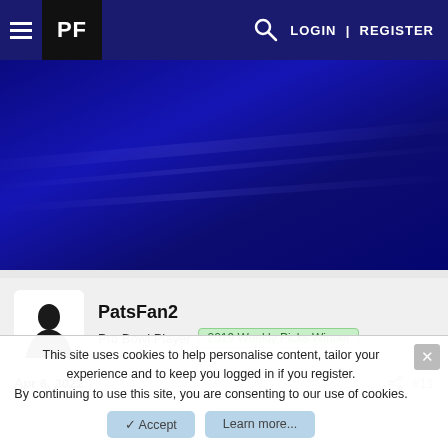PF | LOGIN | REGISTER
[Figure (screenshot): Dark blue hero banner background image]
PatsFan2
Pro Bowl Player  2019 Weekly Picks Winner
Apr 6, 2022  #11
This site uses cookies to help personalise content, tailor your experience and to keep you logged in if you register. By continuing to use this site, you are consenting to our use of cookies.
✓ Accept    Learn more...